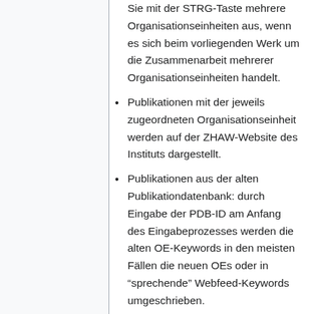Sie mit der STRG-Taste mehrere Organisationseinheiten aus, wenn es sich beim vorliegenden Werk um die Zusammenarbeit mehrerer Organisationseinheiten handelt.
Publikationen mit der jeweils zugeordneten Organisationseinheit werden auf der ZHAW-Website des Instituts dargestellt.
Publikationen aus der alten Publikationdatenbank: durch Eingabe der PDB-ID am Anfang des Eingabeprozesses werden die alten OE-Keywords in den meisten Fällen die neuen OEs oder in "sprechende" Webfeed-Keywords umgeschrieben.
Kontaktieren Sie Ihre/n Online-ManagerIn. Er/sie richtet den Webeinzug (Plugin) ein, falls dieser nicht bereits vorhanden ist.